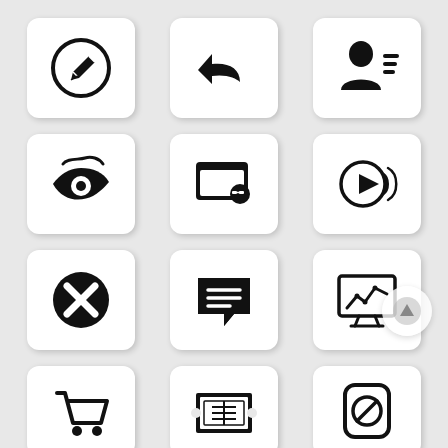[Figure (illustration): Grid of 12 icons: edit/pencil circle, reply arrow, contact list, Weibo eye logo, browser with link, play button with sound waves, close X circle, chat message bubble, monitor with analytics chart, shopping cart, coupon/ticket, blocked circle icon]
[Figure (logo): Scroll-up circle button overlay in bottom right]